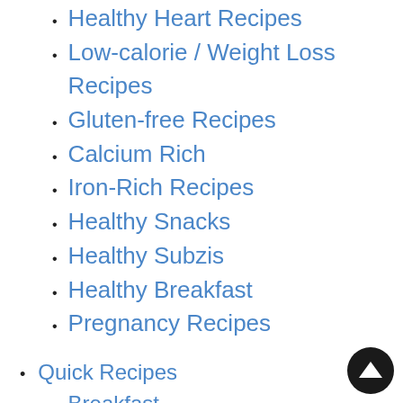Healthy Heart Recipes
Low-calorie / Weight Loss Recipes
Gluten-free Recipes
Calcium Rich
Iron-Rich Recipes
Healthy Snacks
Healthy Subzis
Healthy Breakfast
Pregnancy Recipes
Quick Recipes
Breakfast
Snacks / Starters
Chutneys
Dips and Sauces
Sweets
Top 10 Recipe Articles